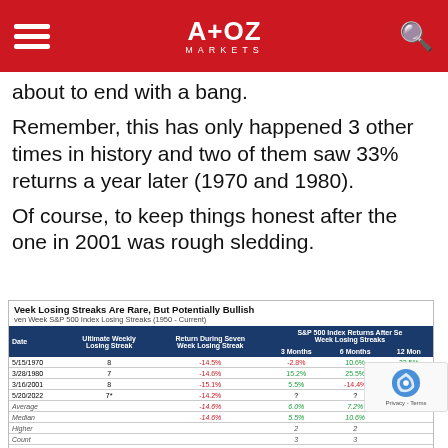A+OZ MARKETS
about to end with a bang.
Remember, this has only happened 3 other times in history and two of them saw 33% returns a year later (1970 and 1980).
Of course, to keep things honest after the one in 2001 was rough sledding.
Week Losing Streaks Are Rare, But Potentially Bullish
en Week S&P 500 Index Losing Streaks (1950 - Current)
| Date | Ultimate Weekly Losing Streak | Return During Seven Week Losing Streak | 3 Months | 6 Months | 12 Mon |
| --- | --- | --- | --- | --- | --- |
| 5/15/1970 | 8 | -14.5% | -2.8% | 10.6% | 33.5% |
| 3/28/1980 | 7 | -14.6% | 15.2% | 25.5% | 33.4% |
| 3/16/2001 | 8 | -15.1% | 5.5% | -14.4% | -0.2% |
| 5/20/2022 | 7* | -14.2% | ? | ? |  |
| Average |  |  | -14.6% | 6.0% | 7.2% |  |
| Median |  |  | -14.6% | 5.5% | 10.6% |  |
| Higher |  |  |  | 2 | 2 |  |
| Count |  |  |  | 3 | 3 |  |
| % Higher |  |  |  | 66.7% | 66.7% |  |
LPL Research, FactSet 05/20/22 * Losing Streak Not Over Yet
es are unmanaged and cannot be invested into directly. Past performance is no guarantee of future results.